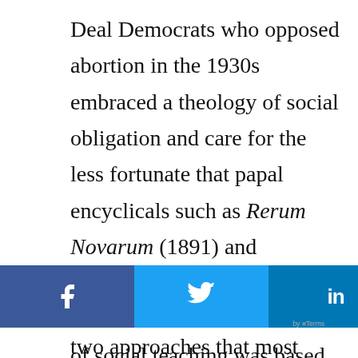Deal Democrats who opposed abortion in the 1930s embraced a theology of social obligation and care for the less fortunate that papal encyclicals such as Rerum Novarum (1891) and Quadragesimo Anno (1931) had mandated. This tradition of social teaching was based on slightly different premises than New Deal liberalism, yet there was
[Figure (screenshot): Social media share bar with buttons for Facebook (f), Twitter (bird icon), LinkedIn (in), Email (envelope icon), Print (printer icon), and More (...)]
two approaches that most Catholics